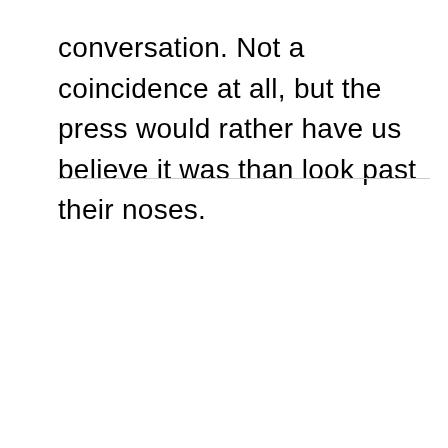conversation. Not a coincidence at all, but the press would rather have us believe it was than look past their noses.